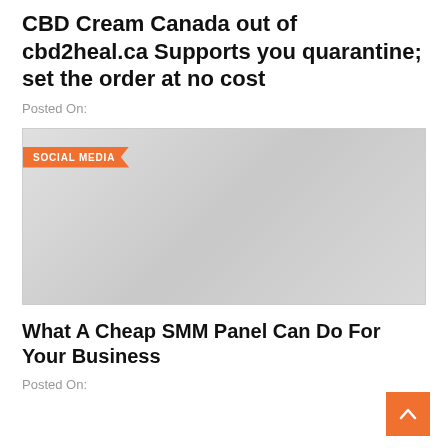CBD Cream Canada out of cbd2heal.ca Supports you quarantine; set the order at no cost
Posted On:
[Figure (photo): Gray placeholder image with an orange 'SOCIAL MEDIA' speech-bubble badge in the upper left corner.]
What A Cheap SMM Panel Can Do For Your Business
Posted On: